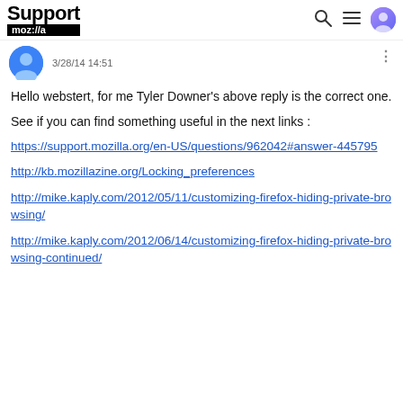Support mozilla:// a
3/28/14 14:51
Hello webstert, for me Tyler Downer's above reply is the correct one.
See if you can find something useful in the next links :
https://support.mozilla.org/en-US/questions/962042#answer-445795
http://kb.mozillazine.org/Locking_preferences
http://mike.kaply.com/2012/05/11/customizing-firefox-hiding-private-browsing/
http://mike.kaply.com/2012/06/14/customizing-firefox-hiding-private-browsing-continued/